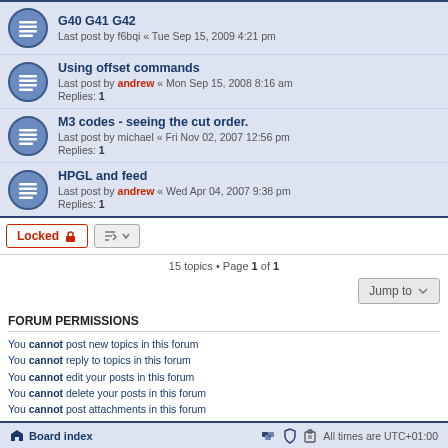G40 G41 G42 - Last post by f6bqi « Tue Sep 15, 2009 4:21 pm
Using offset commands - Last post by andrew « Mon Sep 15, 2008 8:16 am - Replies: 1
M3 codes - seeing the cut order. - Last post by michael « Fri Nov 02, 2007 12:56 pm - Replies: 1
HPGL and feed - Last post by andrew « Wed Apr 04, 2007 9:38 pm - Replies: 1
Locked
15 topics • Page 1 of 1
Jump to
FORUM PERMISSIONS
You cannot post new topics in this forum
You cannot reply to topics in this forum
You cannot edit your posts in this forum
You cannot delete your posts in this forum
You cannot post attachments in this forum
Board index — All times are UTC+01:00
Powered by phpBB® Forum Software © phpBB Limited — Time: 0.071s | Queries: 15 | Peak Memory Usage: 2.53 MiB